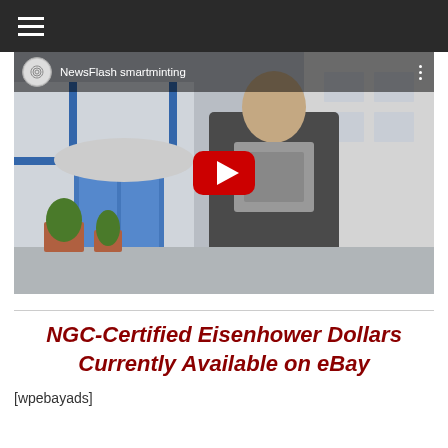≡ (navigation hamburger menu)
[Figure (screenshot): YouTube video thumbnail showing a man in a jacket and scarf standing outside a building. The video is titled 'NewsFlash smartminting' with a YouTube channel icon and play button overlay.]
NGC-Certified Eisenhower Dollars Currently Available on eBay
[wpebayads]